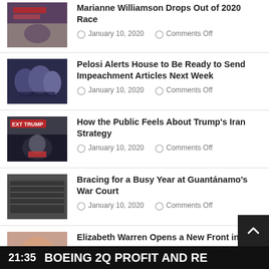Marianne Williamson Drops Out of 2020 Race | January 10, 2020 | Comments Off
Pelosi Alerts House to Be Ready to Send Impeachment Articles Next Week | January 10, 2020 | Comments Off
How the Public Feels About Trump's Iran Strategy | January 10, 2020 | Comments Off
Bracing for a Busy Year at Guantánamo's War Court | January 10, 2020 | Comments Off
Elizabeth Warren Opens a New Front in
21:35  BOEING 2Q PROFIT AND RE